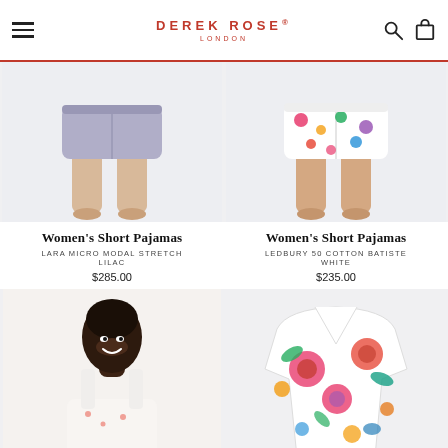Derek Rose London
[Figure (photo): Women's short pajamas - Lara Micro Modal Stretch Lilac - cropped view showing lower body and lilac shorts]
[Figure (photo): Women's short pajamas - Ledbury 50 Cotton Batiste White - cropped view showing lower body with floral print shorts]
Women's Short Pajamas
LARA MICRO MODAL STRETCH
LILAC
$285.00
Women's Short Pajamas
LEDBURY 50 COTTON BATISTE
WHITE
$235.00
[Figure (photo): Smiling Black woman model wearing a white sleeveless nightgown with small floral print, close-up portrait]
[Figure (photo): Women's pajama top with vibrant multicolor floral print on white background, laid flat]